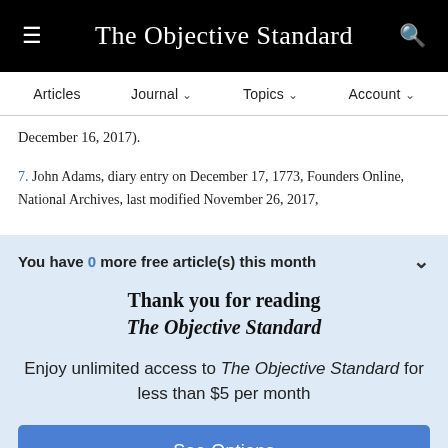The Objective Standard
Articles  Journal  Topics  Account
December 16, 2017).
7. John Adams, diary entry on December 17, 1773, Founders Online, National Archives, last modified November 26, 2017,
You have 0 more free article(s) this month
Thank you for reading The Objective Standard
Enjoy unlimited access to The Objective Standard for less than $5 per month
See Options
Already a subscriber? Log in